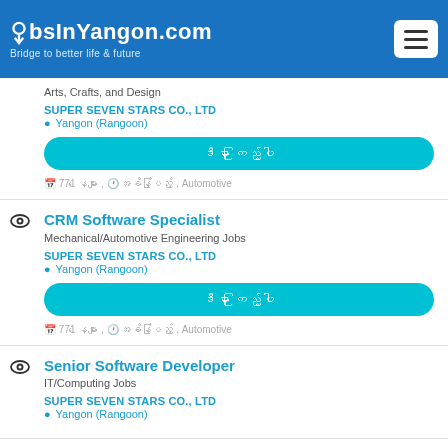JobsInYangon.com - Bridge to better life & future
Arts, Crafts, and Design
SUPER SEVEN STARS CO., LTD
Yangon (Rangoon)
ဒီမှာ ကြည့်ပါ
771 နေများ , အခိန်ပြည် , Automotive
CRM Software Specialist
Mechanical/Automotive Engineering Jobs
SUPER SEVEN STARS CO., LTD
Yangon (Rangoon)
ဒီမှာ ကြည့်ပါ
771 နေများ , အခိန်ပြည် , Automotive
Senior Software Developer
IT/Computing Jobs
SUPER SEVEN STARS CO., LTD
Yangon (Rangoon)